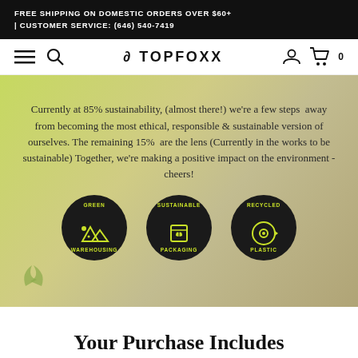FREE SHIPPING ON DOMESTIC ORDERS OVER $60+ | CUSTOMER SERVICE: (646) 540-7419
[Figure (screenshot): TopFoxx website navigation bar with hamburger menu, search icon, STOPFOXX logo, user icon and cart icon]
Currently at 85% sustainability, (almost there!) we're a few steps away from becoming the most ethical, responsible & sustainable version of ourselves. The remaining 15% are the lens (Currently in the works to be sustainable) Together, we're making a positive impact on the environment - cheers!
[Figure (infographic): Three dark circular badges with lime green icons and text: GREEN WAREHOUSING, SUSTAINABLE PACKAGING, RECYCLED PLASTIC]
Your Purchase Includes